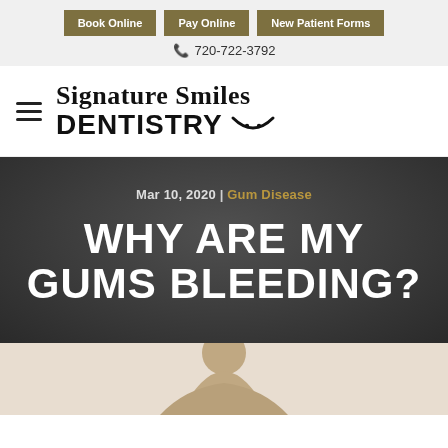Book Online | Pay Online | New Patient Forms | 720-722-3792
[Figure (logo): Signature Smiles DENTISTRY logo with hamburger menu icon]
Mar 10, 2020 | Gum Disease
WHY ARE MY GUMS BLEEDING?
[Figure (photo): Photo of a person, partially visible at the bottom of the page]